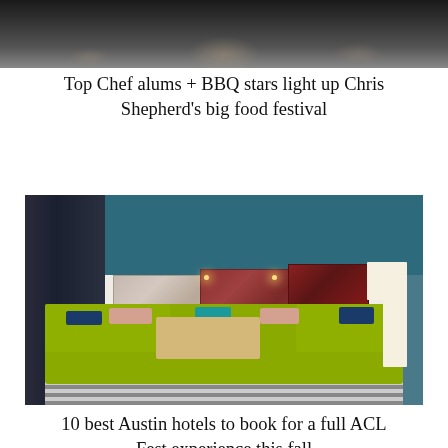[Figure (photo): Top portion of a food festival photo showing people at an event]
Top Chef alums + BBQ stars light up Chris Shepherd's big food festival
[Figure (photo): Interior of a stylish hotel lobby with a green sectional sofa, colorful pillows, rugs hung on the wall, a wood coffee table, striped floor rug, and a bookshelf on the left with a teal blue ceiling]
10 best Austin hotels to book for a full ACL Fest experience this fall